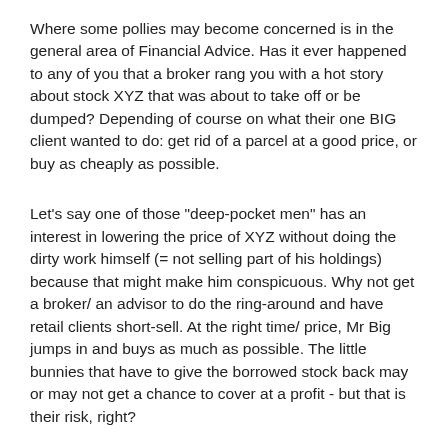Where some pollies may become concerned is in the general area of Financial Advice. Has it ever happened to any of you that a broker rang you with a hot story about stock XYZ that was about to take off or be dumped? Depending of course on what their one BIG client wanted to do: get rid of a parcel at a good price, or buy as cheaply as possible.
Let's say one of those "deep-pocket men" has an interest in lowering the price of XYZ without doing the dirty work himself (= not selling part of his holdings) because that might make him conspicuous. Why not get a broker/ an advisor to do the ring-around and have retail clients short-sell. At the right time/ price, Mr Big jumps in and buys as much as possible. The little bunnies that have to give the borrowed stock back may or may not get a chance to cover at a profit - but that is their risk, right?
Conclusion: Shortselling per se is not evil, it's a financial tool for